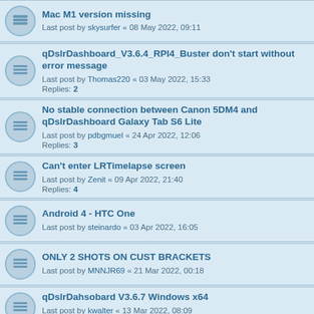Mac M1 version missing
Last post by skysurfer « 08 May 2022, 09:11
qDslrDashboard_V3.6.4_RPI4_Buster don't start without error message
Last post by Thomas220 « 03 May 2022, 15:33
Replies: 2
No stable connection between Canon 5DM4 and qDslrDashboard Galaxy Tab S6 Lite
Last post by pdbgmuel « 24 Apr 2022, 12:06
Replies: 3
Can't enter LRTimelapse screen
Last post by Zenit « 09 Apr 2022, 21:40
Replies: 4
Android 4 - HTC One
Last post by steinardo « 03 Apr 2022, 16:05
ONLY 2 SHOTS ON CUST BRACKETS
Last post by MNNJR69 « 21 Mar 2022, 00:18
qDslrDahsobard V3.6.7 Windows x64
Last post by kwalter « 13 Mar 2022, 08:09
Replies: 1
Fokus Stack hängt sich auf
Last post by hubaiz « 08 Mar 2022, 19:23
Replies: 1
Doesn't work well with Sony a6400
Last post by hubaiz « 08 Mar 2022, 19:21
Replies: 1